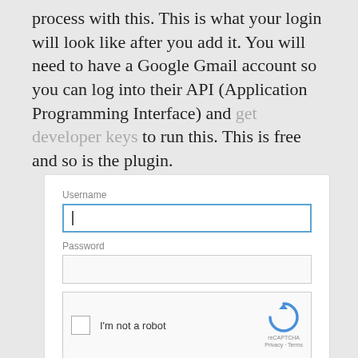process with this. This is what your login will look like after you add it. You will need to have a Google Gmail account so you can log into their API (Application Programming Interface) and get developer keys to run this. This is free and so is the plugin.
[Figure (screenshot): A WordPress login form screenshot showing Username field (active/focused with blue border), Password field, a reCAPTCHA 'I'm not a robot' checkbox widget, a Remember Me checkbox, and a blue Log In button.]